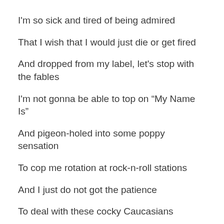I'm so sick and tired of being admired
That I wish that I would just die or get fired
And dropped from my label, let's stop with the fables
I'm not gonna be able to top on “My Name Is”
And pigeon-holed into some poppy sensation
To cop me rotation at rock-n-roll stations
And I just do not got the patience
To deal with these cocky Caucasians
Who think that they can come and entertain us...